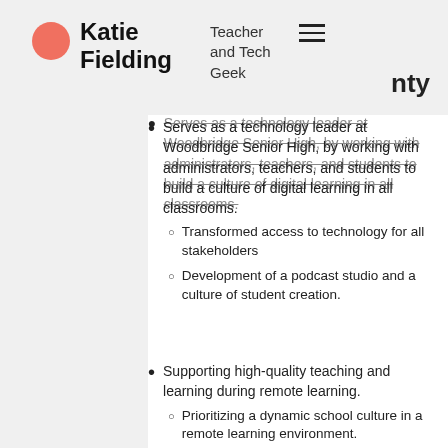Katie Fielding — Teacher and Tech Geek — nty
Serves as a technology leader at Woodbridge Senior High, by working with administrators, teachers, and students to build a culture of digital learning in all classrooms.
Transformed access to technology for all stakeholders
Development of a podcast studio and a culture of student creation.
Supporting high-quality teaching and learning during remote learning.
Prioritizing a dynamic school culture in a remote learning environment.